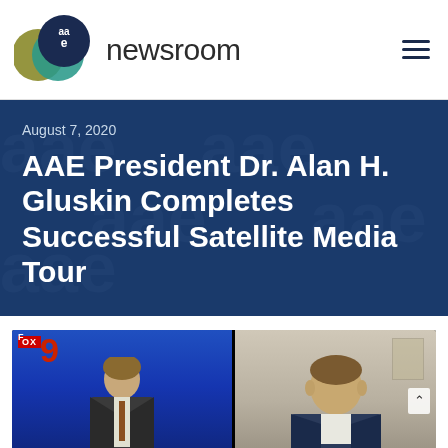aae newsroom
August 7, 2020
AAE President Dr. Alan H. Gluskin Completes Successful Satellite Media Tour
[Figure (photo): TV screenshot showing a news anchor on the left (Fox 9 studio with blue background) and Dr. Alan H. Gluskin on the right in a remote video call setting]